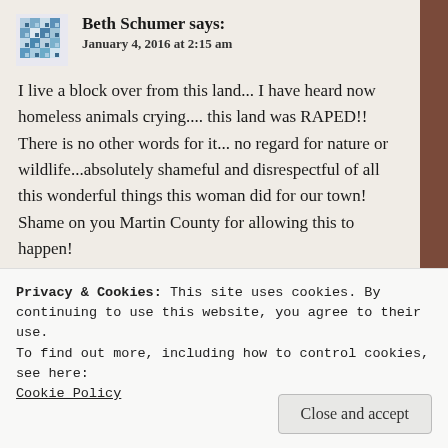[Figure (other): Blue and white mosaic/pattern avatar icon for user Beth Schumer]
Beth Schumer says:
January 4, 2016 at 2:15 am
I live a block over from this land... I have heard now homeless animals crying.... this land was RAPED!! There is no other words for it... no regard for nature or wildlife...absolutely shameful and disrespectful of all this wonderful things this woman did for our town! Shame on you Martin County for allowing this to happen!
★ Liked by 2 people
Reply
Privacy & Cookies: This site uses cookies. By continuing to use this website, you agree to their use.
To find out more, including how to control cookies, see here:
Cookie Policy
Close and accept